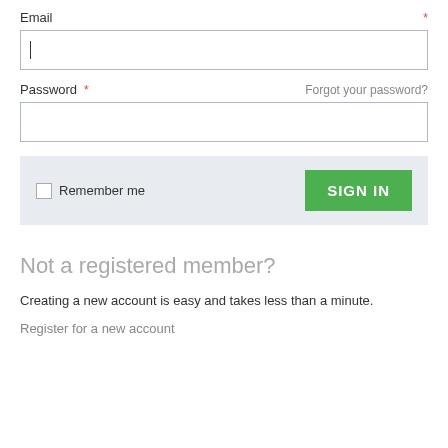Email *
[Figure (screenshot): Email input field with text cursor]
Password * Forgot your password?
[Figure (screenshot): Password input field (empty)]
Remember me
SIGN IN
Not a registered member?
Creating a new account is easy and takes less than a minute.
Register for a new account